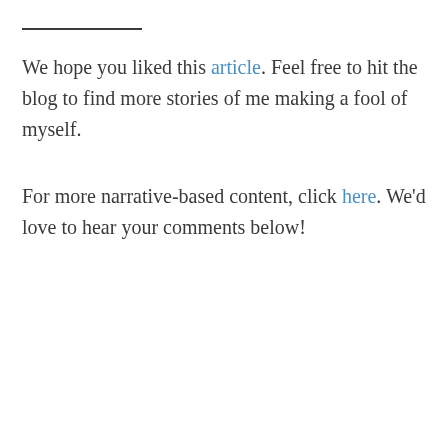We hope you liked this article. Feel free to hit the blog to find more stories of me making a fool of myself.
For more narrative-based content, click here. We'd love to hear your comments below!